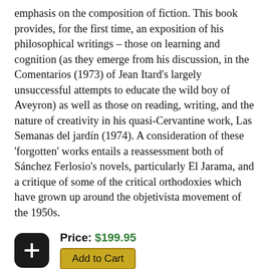emphasis on the composition of fiction. This book provides, for the first time, an exposition of his philosophical writings – those on learning and cognition (as they emerge from his discussion, in the Comentarios (1973) of Jean Itard's largely unsuccessful attempts to educate the wild boy of Aveyron) as well as those on reading, writing, and the nature of creativity in his quasi-Cervantine work, Las Semanas del jardín (1974). A consideration of these 'forgotten' works entails a reassessment both of Sánchez Ferlosio's novels, particularly El Jarama, and a critique of some of the critical orthodoxies which have grown up around the objetivista movement of the 1950s.
Price: $199.95
Add to Cart